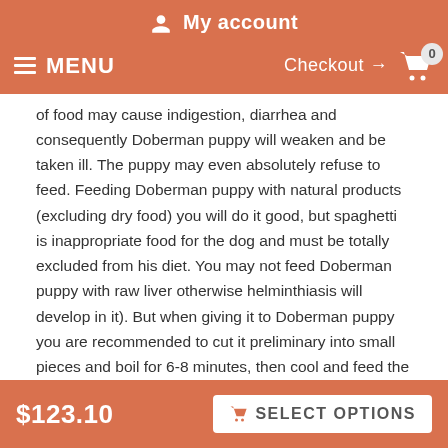My account
MENU   Checkout → 0
of food may cause indigestion, diarrhea and consequently Doberman puppy will weaken and be taken ill. The puppy may even absolutely refuse to feed. Feeding Doberman puppy with natural products (excluding dry food) you will do it good, but spaghetti is inappropriate food for the dog and must be totally excluded from his diet. You may not feed Doberman puppy with raw liver otherwise helminthiasis will develop in it). But when giving it to Doberman puppy you are recommended to cut it preliminary into small pieces and boil for 6-8 minutes, then cool and feed the dog with it.
Doberman. Great benefit of correct feeding. - READ MORE!
$123.10   SELECT OPTIONS